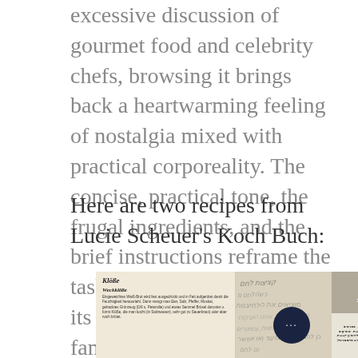excessive discussion of gourmet food and celebrity chefs, browsing it brings back a heartwarming feeling of nostalgia mixed with practical corporeality. The concise, practical tone, the frugal ingredients, and the brief instructions reframe the task of food preparation in its former context: feeding a family.
Here are two recipes from Lucie Scheuer's Koch Buch:
[Figure (photo): A photograph of an open cookbook page showing 'Klöße' and 'Weckklöße' recipes in German on the left, Hebrew handwriting and text in the middle-right, and a grey box with an upward arrow and Hebrew text 'קציצות' on the far right. A dark circular button with three dots overlays the bottom right.]